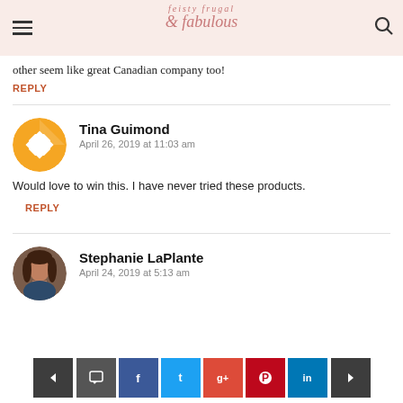feisty frugal fabulous
other seem like great Canadian company too!
REPLY
Tina Guimond
April 26, 2019 at 11:03 am
Would love to win this. I have never tried these products.
REPLY
Stephanie LaPlante
April 24, 2019 at 5:13 am
< comment facebook twitter google+ pinterest linkedin >